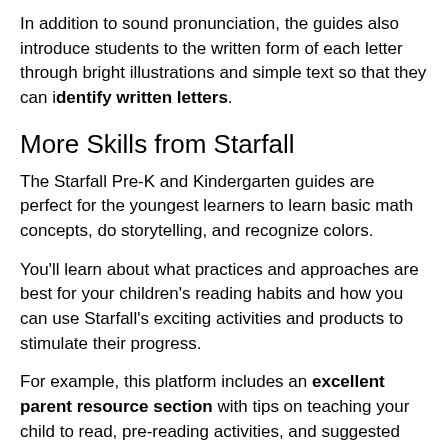In addition to sound pronunciation, the guides also introduce students to the written form of each letter through bright illustrations and simple text so that they can identify written letters.
More Skills from Starfall
The Starfall Pre-K and Kindergarten guides are perfect for the youngest learners to learn basic math concepts, do storytelling, and recognize colors.
You'll learn about what practices and approaches are best for your children's reading habits and how you can use Starfall's exciting activities and products to stimulate their progress.
For example, this platform includes an excellent parent resource section with tips on teaching your child to read, pre-reading activities, and suggested books and games.